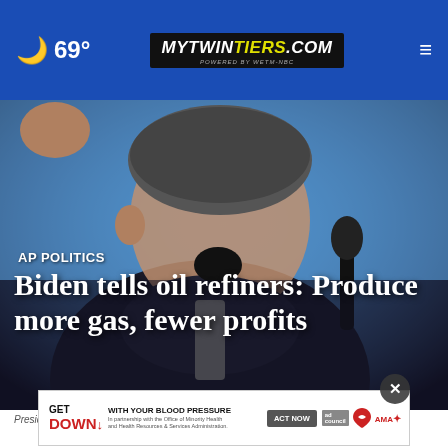🌙 69° | MYTWINTIERS.COM | ☰
[Figure (photo): Close-up photo of a man in a dark suit speaking at a podium with a microphone, blue-toned background]
AP POLITICS
Biden tells oil refiners: Produce more gas, fewer profits
[Figure (infographic): Advertisement banner: GET DOWN WITH YOUR BLOOD PRESSURE - ACT NOW - with ad council, American Heart Association, and AMA logos]
Preside... June 14, 2022, in...